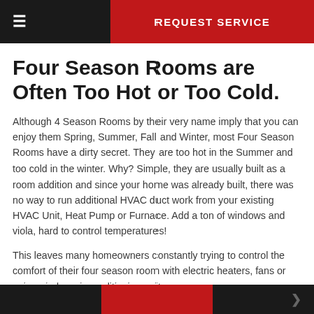REQUEST SERVICE
Four Season Rooms are Often Too Hot or Too Cold.
Although 4 Season Rooms by their very name imply that you can enjoy them Spring, Summer, Fall and Winter, most Four Season Rooms have a dirty secret.  They are too hot in the Summer and too cold in the winter.  Why?  Simple, they are usually built as a room addition and since your home was already built, there was no way to run additional HVAC duct work from your existing HVAC Unit, Heat Pump or Furnace.  Add a ton of windows and viola, hard to control temperatures!
This leaves many homeowners constantly trying to control the comfort of their four season room with electric heaters, fans or noisy window air conditioning units.